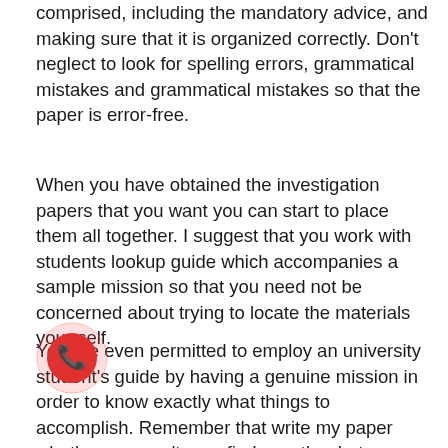comprised, including the mandatory advice, and making sure that it is organized correctly. Don't neglect to look for spelling errors, grammatical mistakes and grammatical mistakes so that the paper is error-free.
When you have obtained the investigation papers that you want you can start to place them all together. I suggest that you work with students lookup guide which accompanies a sample mission so that you need not be concerned about trying to locate the materials your self.
You are even permitted to employ an university student's guide by having a genuine mission in order to know exactly what things to accomplish. Remember that write my paper whether you can't ever find exactly what you require on the internet, you always have the option to email the school or association directly to ask for them. However, if you do find exactly what you require, remember to lookup the website